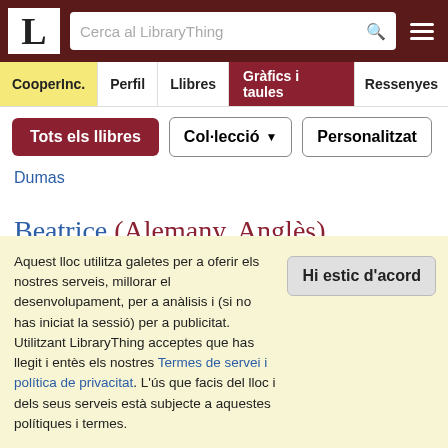LibraryThing — Cerca al LibraryThing
CooperInc. | Perfil | Llibres | Gràfics i taules | Ressenyes
Tots els llibres | Col·lecció | Personalitzat
Dumas
Beatrice (Alemany, Anglès)
The Divine Comedy (Inferno / Purgatorio / Paradiso) de Dante Alighieri
Aquest lloc utilitza galetes per a oferir els nostres serveis, millorar el desenvolupament, per a anàlisis i (si no has iniciat la sessió) per a publicitat. Utilitzant LibraryThing acceptes que has llegit i entès els nostres Termes de servei i política de privacitat. L'ús que facis del lloc i dels seus serveis està subjecte a aquestes polítiques i termes. Hi estic d'acord